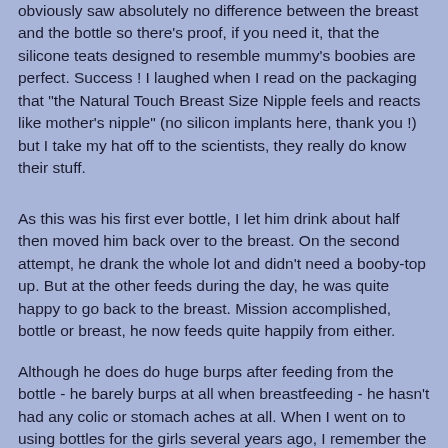obviously saw absolutely no difference between the breast and the bottle so there's proof, if you need it, that the silicone teats designed to resemble mummy's boobies are perfect. Success ! I laughed when I read on the packaging that "the Natural Touch Breast Size Nipple feels and reacts like mother's nipple" (no silicon implants here, thank you !) but I take my hat off to the scientists, they really do know their stuff.
As this was his first ever bottle, I let him drink about half then moved him back over to the breast. On the second attempt, he drank the whole lot and didn't need a booby-top up. But at the other feeds during the day, he was quite happy to go back to the breast. Mission accomplished, bottle or breast, he now feeds quite happily from either.
Although he does do huge burps after feeding from the bottle - he barely burps at all when breastfeeding - he hasn't had any colic or stomach aches at all. When I went on to using bottles for the girls several years ago, I remember the nipples collapsing every few minutes so you had to stop and